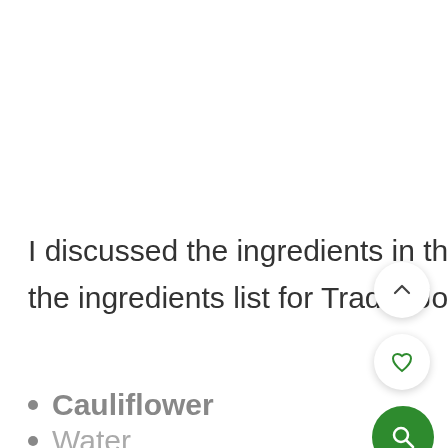I discussed the ingredients in the kung pao sauce above. Here is the ingredients list for Trader Joe's Tempura Cauliflower:
Cauliflower
Water